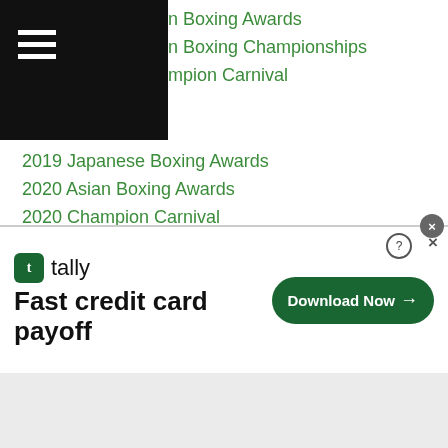n Boxing Awards
n Boxing Championships
mpion Carnival
2019 Japanese Boxing Awards
2020 Asian Boxing Awards
2020 Champion Carnival
2020 Japanese Boxing Awards
2021
2021 Asian Boxing Awards
2021 Champion Carnival
2021 Japanese Boxing Awards
2022 Japanese Boxing Awards
3150 Gym
89th All Japan National Championships
Abay Tolesh
Abdelkadir Abdullayev
[Figure (screenshot): Infolinks advertisement banner for Tally app — Fast credit card payoff — with Download Now button]